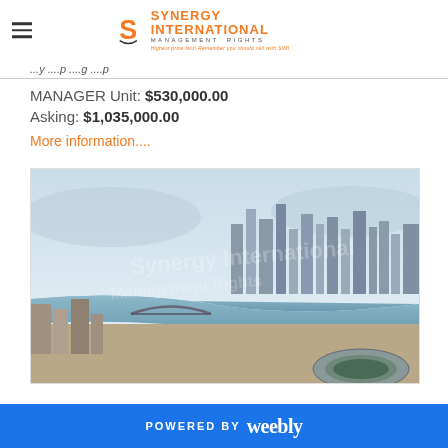Synergy International Management Rights
MANAGER Unit: $530,000.00
Asking: $1,035,000.00
More information....
[Figure (photo): Aerial photograph of Brisbane city skyline with river and stadium]
POWERED BY weebly